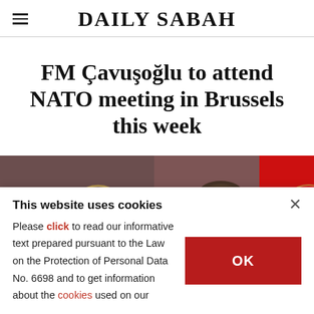DAILY SABAH
FM Çavuşoğlu to attend NATO meeting in Brussels this week
[Figure (photo): Photo of FM Çavuşoğlu at a press backdrop with Turkish Ministry of Foreign Affairs logos, a Turkish flag visible on the right]
This website uses cookies
× 
Please click to read our informative text prepared pursuant to the Law on the Protection of Personal Data No. 6698 and to get information about the cookies used on our   OK